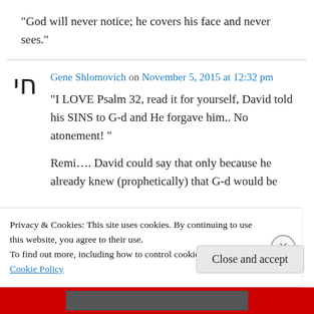“God will never notice; he covers his face and never sees.”
Gene Shlomovich on November 5, 2015 at 12:32 pm
“I LOVE Psalm 32, read it for yourself, David told his SINS to G-d and He forgave him.. No atonement! ”

Remi…. David could say that only because he already knew (prophetically) that G-d would be
Privacy & Cookies: This site uses cookies. By continuing to use this website, you agree to their use.
To find out more, including how to control cookies, see here: Cookie Policy
Close and accept